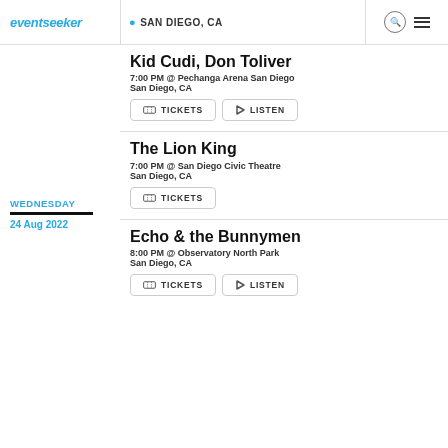eventseeker | SAN DIEGO, CA
Kid Cudi, Don Toliver
7:00 PM @ Pechanga Arena San Diego
San Diego, CA
TICKETS | LISTEN
WEDNESDAY
24 Aug 2022
The Lion King
7:00 PM @ San Diego Civic Theatre
San Diego, CA
TICKETS
Echo & the Bunnymen
8:00 PM @ Observatory North Park
San Diego, CA
TICKETS | LISTEN